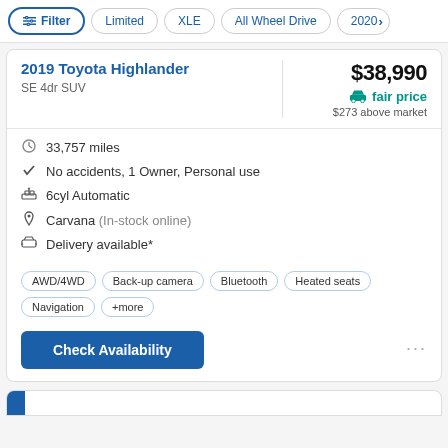Filter | Limited | XLE | All Wheel Drive | 2020›
2019 Toyota Highlander
SE 4dr SUV
$38,990
fair price
$273 above market
33,757 miles
No accidents, 1 Owner, Personal use
6cyl Automatic
Carvana (In-stock online)
Delivery available*
AWD/4WD  Back-up camera  Bluetooth  Heated seats  Navigation  +more
Check Availability